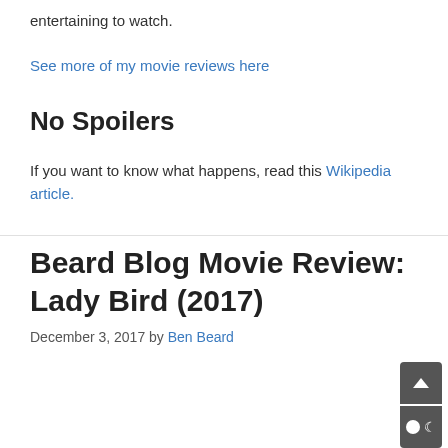entertaining to watch.
See more of my movie reviews here
No Spoilers
If you want to know what happens, read this Wikipedia article.
Beard Blog Movie Review: Lady Bird (2017)
December 3, 2017 by Ben Beard